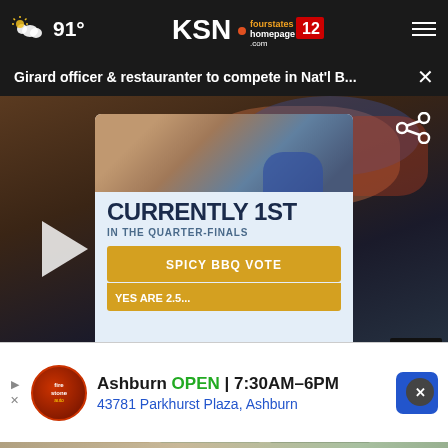91° KSN fourstates homepage .com 12
Girard officer & restauranter to compete in Nat'l B...
[Figure (screenshot): Video player showing a phone screen with 'CURRENTLY 1ST IN THE QUARTER-FINALS' and 'SPICY BBQ VOTE' text, with KSN branding and a sports ticker showing MLB: CHICAGO WSOX 13, DETROIT 0 F]
Ashburn OPEN | 7:30AM–6PM  43781 Parkhurst Plaza, Ashburn